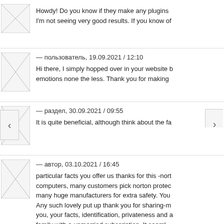Howdy! Do you know if they make any plugins I'm not seeing very good results. If you know of
— ????????, 19.09.2021 / 12:10
Hi there, I simply hopped over in your website b emotions none the less. Thank you for making
— ??????, 30.09.2021 / 09:55
It is quite beneficial, although think about the fa
— ?????, 03.10.2021 / 16:45
particular facts you offer us thanks for this -nort computers, many customers pick norton protec many huge manufacturers for extra safety. You Any such lovely put up thank you for sharing-m you, your facts, identification, privateness and a family with a unmarried subscription. It seaml